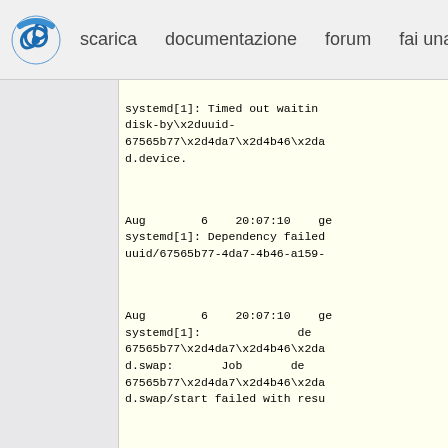scarica  documentazione  forum  fai una d
systemd[1]: Timed out waitin disk-by\x2duuid-67565b77\x2d4da7\x2d4b46\x2da d.device.

Aug 6 20:07:10 ge systemd[1]: Dependency failed uuid/67565b77-4da7-4b46-a159-

Aug 6 20:07:10 ge systemd[1]: de 67565b77\x2d4da7\x2d4b46\x2da d.swap: Job de 67565b77\x2d4da7\x2d4b46\x2da d.swap/start failed with resu

Aug 6 20:07:10 ge systemd[1]: Startup finished + 3min 11.639s (userspace) =

Aug 6 20:07:10 ge systemd[1]: de 67565b77\x2d4da7\x2d4b46\x2da d.device: Job de 67565b77\x2d4da7\x2d4b46\x2da d.device/start failed with re